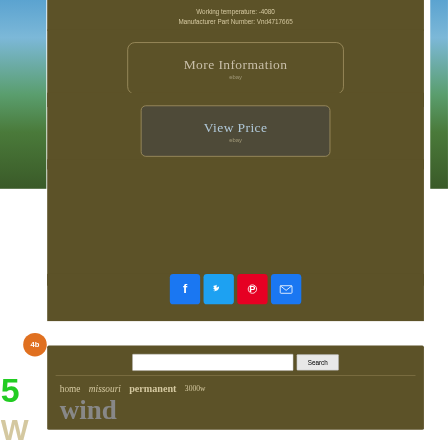Working temperature: -4080
Manufacturer Part Number: Vnd4717665
[Figure (illustration): More Information button with eBay branding, rounded rectangle outline on dark olive/brown background]
[Figure (illustration): View Price button with eBay branding, rounded rectangle outline on dark olive/brown background]
[Figure (infographic): Social media sharing icons row: Facebook (blue), Twitter (blue), Pinterest (red), Email (blue)]
[Figure (infographic): Search bar with text input and Search button]
home   missouri   permanent   3000w
wind